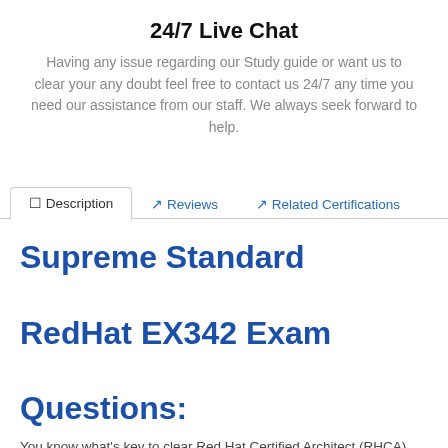24/7 Live Chat
Having any issue regarding our Study guide or want us to clear your any doubt feel free to contact us 24/7 any time you need our assistance from our staff. We always seek forward to help.
Description | Reviews | Related Certifications
Supreme Standard RedHat EX342 Exam Questions:
You know what's key to clear Red Hat Certified Architect (RHCA) EX342 exam? If not, Eyelash-Extensions are here to guide you. In order to clear this exam, one must have a